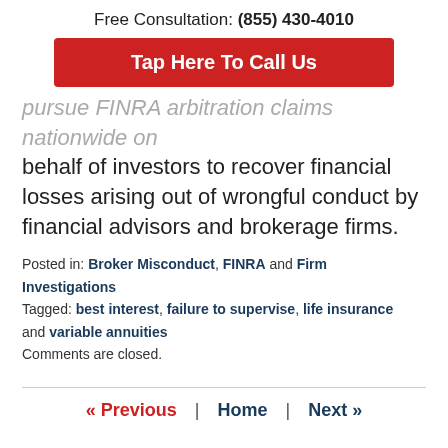Free Consultation: (855) 430-4010
Tap Here To Call Us
pursue FINRA arbitration claims nationwide on behalf of investors to recover financial losses arising out of wrongful conduct by financial advisors and brokerage firms.
Posted in: Broker Misconduct, FINRA and Firm Investigations
Tagged: best interest, failure to supervise, life insurance and variable annuities
Comments are closed.
« Previous | Home | Next »